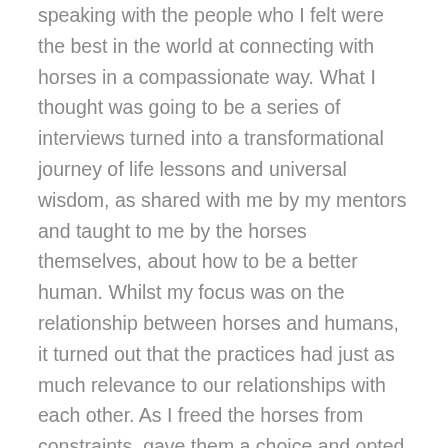speaking with the people who I felt were the best in the world at connecting with horses in a compassionate way. What I thought was going to be a series of interviews turned into a transformational journey of life lessons and universal wisdom, as shared with me by my mentors and taught to me by the horses themselves, about how to be a better human. Whilst my focus was on the relationship between horses and humans, it turned out that the practices had just as much relevance to our relationships with each other. As I freed the horses from constraints, gave them a choice and opted to play at liberty in an open paddock with minimal gear, using intention and energy, I simultaneously freed myself from ideas about the way things should be done and allowed myself the freedom to move forward intuitively and harmoniously. It was a process of letting go of control-oriented belief systems and replacing them with mindful ways of being that support a deeper connection with horses. These core principles have